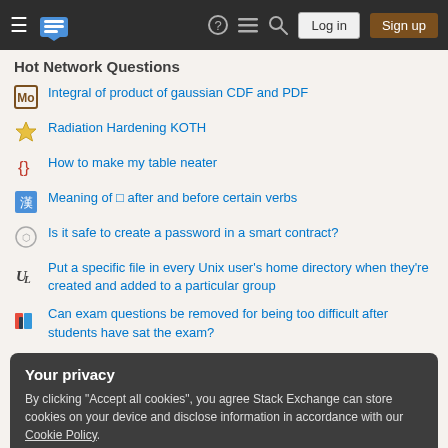Stack Exchange navigation bar with Log in and Sign up buttons
Hot Network Questions
Integral of product of gaussian CDF and PDF
Radiation Hardening KOTH
How to make my table neater
Meaning of □ after and before certain verbs
Is it safe to create a password in a smart contract?
Put a specific file in every Unix user's home directory when they're created and added to a particular group
Can exam questions be removed for being too difficult after students have sat the exam?
Your privacy
By clicking "Accept all cookies", you agree Stack Exchange can store cookies on your device and disclose information in accordance with our Cookie Policy.
Accept all cookies | Customize settings
Numbers 21:8?